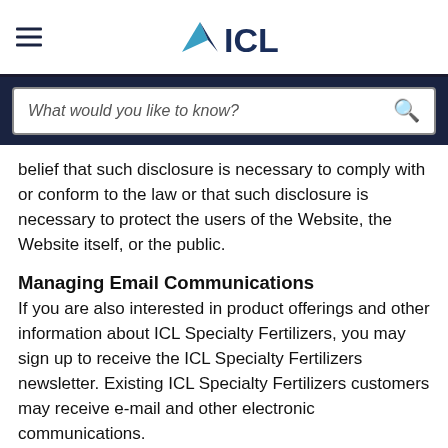ICL
belief that such disclosure is necessary to comply with or conform to the law or that such disclosure is necessary to protect the users of the Website, the Website itself, or the public.
Managing Email Communications
If you are also interested in product offerings and other information about ICL Specialty Fertilizers, you may sign up to receive the ICL Specialty Fertilizers newsletter. Existing ICL Specialty Fertilizers customers may receive e-mail and other electronic communications.
You can easily unsubscribe (opt out) to all e-mail and other elecronic communications from ICL Specialty Fertilizers by following the "unsubscribe" link in the email